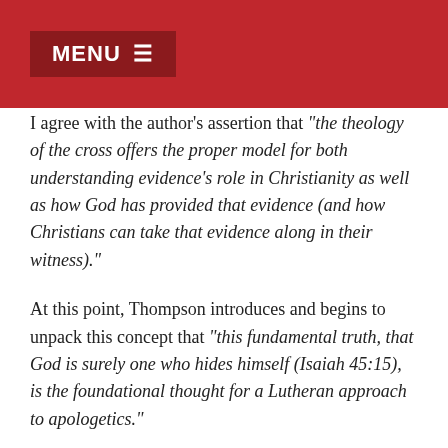MENU ≡
I agree with the author's assertion that "the theology of the cross offers the proper model for both understanding evidence's role in Christianity as well as how God has provided that evidence (and how Christians can take that evidence along in their witness)."
At this point, Thompson introduces and begins to unpack this concept that "this fundamental truth, that God is surely one who hides himself (Isaiah 45:15), is the foundational thought for a Lutheran approach to apologetics."
While I find this idea quite intriguing, I'm still left wondering if the use of words like "hidden" and "hiddenness" within Apologetics (particularly Apologetics debates and discussions with non-Christians) is helpful since you wouldn't want to imply that Christ can never be "found" since we know that He most certainly is found